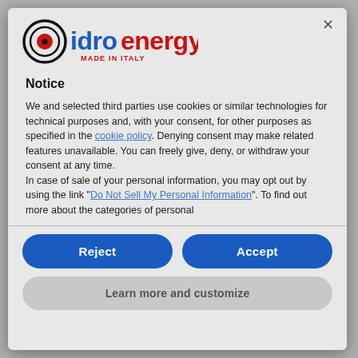[Figure (logo): idroenergy MADE IN ITALY logo — circular target icon in black and red on left, 'idro' in blue bold, 'energy' in red bold, 'MADE IN ITALY' in red small caps below]
Notice
We and selected third parties use cookies or similar technologies for technical purposes and, with your consent, for other purposes as specified in the cookie policy. Denying consent may make related features unavailable. You can freely give, deny, or withdraw your consent at any time.
In case of sale of your personal information, you may opt out by using the link "Do Not Sell My Personal Information". To find out more about the categories of personal